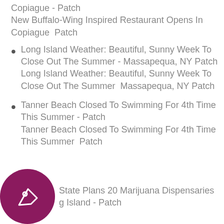Copiague - Patch
New Buffalo-Wing Inspired Restaurant Opens In Copiague  Patch
Long Island Weather: Beautiful, Sunny Week To Close Out The Summer - Massapequa, NY Patch
Long Island Weather: Beautiful, Sunny Week To Close Out The Summer  Massapequa, NY Patch
Tanner Beach Closed To Swimming For 4th Time This Summer - Patch
Tanner Beach Closed To Swimming For 4th Time This Summer  Patch
State Plans 20 Marijuana Dispensaries
g Island - Patch